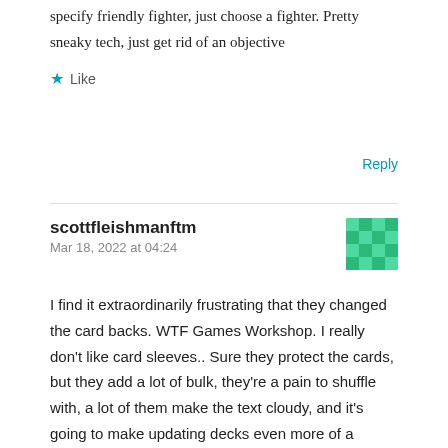specify friendly fighter, just choose a fighter. Pretty sneaky tech, just get rid of an objective
Like
Reply
scottfleishmanftm
Mar 18, 2022 at 04:24
[Figure (illustration): Green pixel/mosaic avatar pattern]
I find it extraordinarily frustrating that they changed the card backs. WTF Games Workshop. I really don't like card sleeves.. Sure they protect the cards, but they add a lot of bulk, they're a pain to shuffle with, a lot of them make the text cloudy, and it's going to make updating decks even more of a process.
Any recommendations for opaque single card sleeves